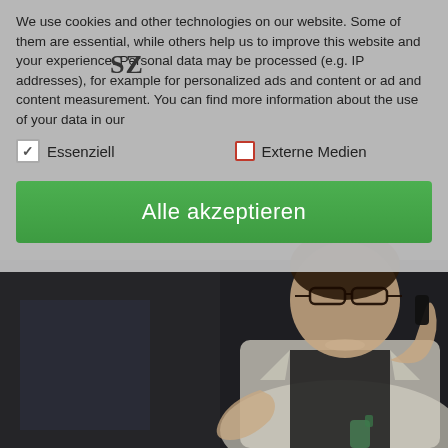[Figure (photo): Dark-toned photograph of a woman with glasses and light-colored jacket holding a remote control or small device, speaking at what appears to be a conference or presentation. Background is dimly lit.]
We use cookies and other technologies on our website. Some of them are essential, while others help us to improve this website and your experience. Personal data may be processed (e.g. IP addresses), for example for personalized ads and content or ad and content measurement. You can find more information about the use of your data in our
SZ
✓ Essenziell
☐ Externe Medien
Alle akzeptieren